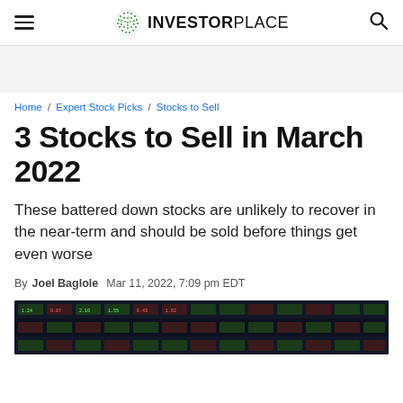InvestorPlace
Home / Expert Stock Picks / Stocks to Sell
3 Stocks to Sell in March 2022
These battered down stocks are unlikely to recover in the near-term and should be sold before things get even worse
By Joel Baglole  Mar 11, 2022, 7:09 pm EDT
[Figure (photo): Stock market ticker board showing colored price data on a dark background]